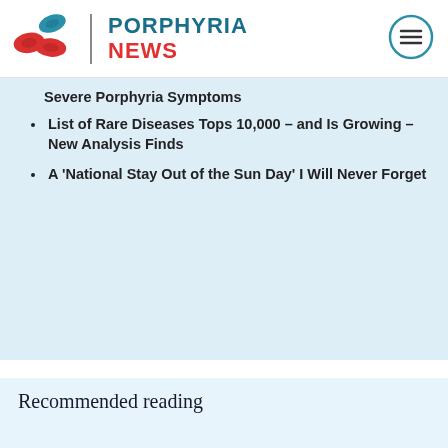PORPHYRIA NEWS
Severe Porphyria Symptoms
List of Rare Diseases Tops 10,000 – and Is Growing – New Analysis Finds
A ‘National Stay Out of the Sun Day’ I Will Never Forget
Recommended reading
[Figure (illustration): Illustration showing a person with purple hair reading at a desk with green pendant lamps in the background, in a cafe-like setting with pink walls.]